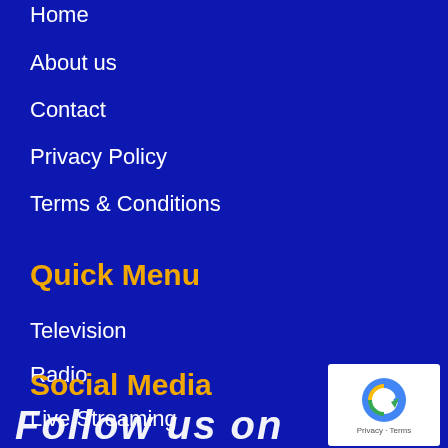Home
About us
Contact
Privacy Policy
Terms & Conditions
Quick Menu
Television
Radio
Live Streaming
Social Media
[Figure (logo): reCAPTCHA badge with logo and Privacy - Terms text]
Follow us on (script/cursive text)